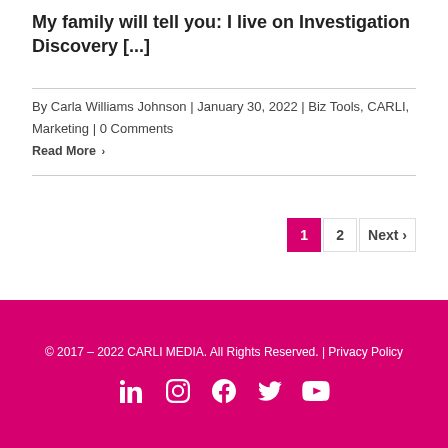My family will tell you: I live on Investigation Discovery [...]
By Carla Williams Johnson | January 30, 2022 | Biz Tools, CARLI, Marketing | 0 Comments
Read More ›
1  2  Next ›
© 2017 – 2022 CARLI MEDIA. All Rights Reserved. | Privacy Policy